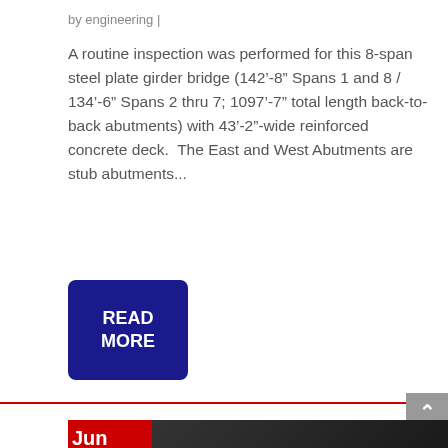by engineering |
A routine inspection was performed for this 8-span steel plate girder bridge (142’-8” Spans 1 and 8 / 134’-6” Spans 2 thru 7; 1097’-7” total length back-to-back abutments) with 43’-2”-wide reinforced concrete deck.  The East and West Abutments are stub abutments...
READ MORE
[Figure (photo): Underside view of a steel plate girder bridge structure, dark tones, showing bridge beams and structure from below. Date overlay showing Jun 6, 2012 in red box on left side.]